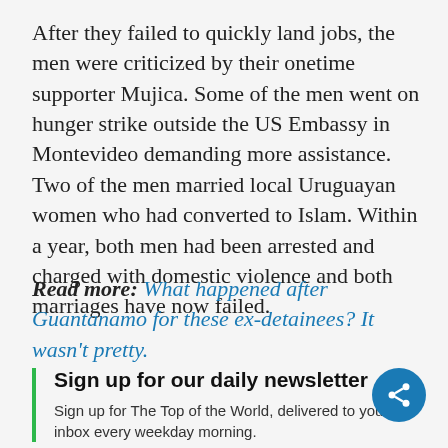After they failed to quickly land jobs, the men were criticized by their onetime supporter Mujica. Some of the men went on hunger strike outside the US Embassy in Montevideo demanding more assistance. Two of the men married local Uruguayan women who had converted to Islam. Within a year, both men had been arrested and charged with domestic violence and both marriages have now failed.
Read more: What happened after Guantanamo for these ex-detainees? It wasn't pretty.
Sign up for our daily newsletter
Sign up for The Top of the World, delivered to your inbox every weekday morning.